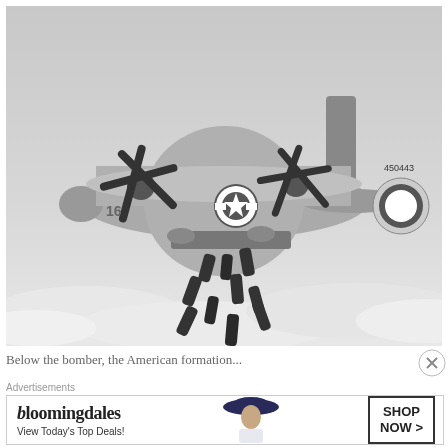[Figure (photo): Black and white photograph of a WWII-era B-24 Liberator bomber aircraft in flight, dropping a series of bombs from its bomb bay. The aircraft displays US Army Air Forces markings including a white star insignia on the fuselage and the serial number 450443 on the tail. The plane is flying above clouds.]
Below the bomber, the American formation...
Advertisements
[Figure (other): Bloomingdale's advertisement banner showing the Bloomingdales logo, text 'View Today's Top Deals!', a photo of a woman in a wide-brim hat, and a 'SHOP NOW >' button.]